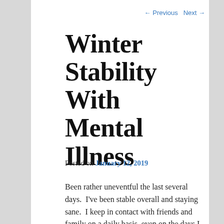← Previous   Next →
Winter Stability With Mental Illness
Posted on January 12, 2019
Been rather uneventful the last several days.  I've been stable overall and staying sane.  I keep in contact with friends and family on a daily basis, even on the days I don't leave my apartment complex.  I think I'm continuing to lose weight as my stamina is slowly increasing, my aches and pains are taking less time to overcome, and I don't sleep twelve hours a day anymore.  I now usually sleep eight.  Most nights I go to bed around nine or ten p.m and wake up around four or five a.m.  I usually wake up once in the middle of the night to